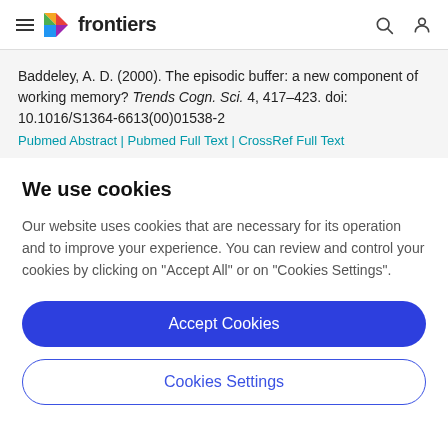frontiers
Baddeley, A. D. (2000). The episodic buffer: a new component of working memory? Trends Cogn. Sci. 4, 417–423. doi: 10.1016/S1364-6613(00)01538-2
Pubmed Abstract | Pubmed Full Text | CrossRef Full Text
We use cookies
Our website uses cookies that are necessary for its operation and to improve your experience. You can review and control your cookies by clicking on "Accept All" or on "Cookies Settings".
Accept Cookies
Cookies Settings